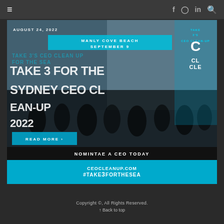≡   f  o  in  🔍
[Figure (photo): Photograph of a crowd of people at a beach cleanup event, overlaid with large white text reading 'TAKE 3 FOR THE SYDNEY CEO CLEAN-UP 2022', with a cyan banner showing 'MANLY COVE BEACH SEPTEMBER 9', a black strip with 'NOMINTAE A CEO TODAY', and a cyan strip with 'CEOCLEANUP.COM' and '#TAKE3FORTHESEA'. A 'READ MORE >' button is visible. Date stamp reads 'AUGUST 24, 2022'.]
Copyright ©, All Rights Reserved.
↑ Back to top